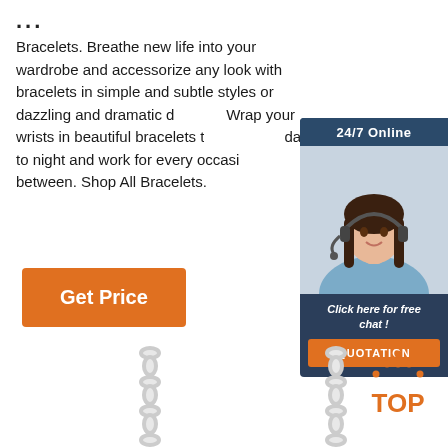...
Bracelets. Breathe new life into your wardrobe and accessorize any look with bracelets in simple and subtle styles or dazzling and dramatic d... Wrap your wrists in beautiful bracelets t... day to night and work for every occasion between. Shop All Bracelets.
[Figure (photo): Customer service representative woman with headset, with '24/7 Online' header in dark blue/teal, 'Click here for free chat!' text, and orange 'QUOTATION' button]
[Figure (other): Orange 'TOP' badge with dots arranged in triangle above text]
[Figure (photo): Silver chain bracelet/necklace photo on left]
[Figure (photo): Silver chain bracelet/necklace photo in center]